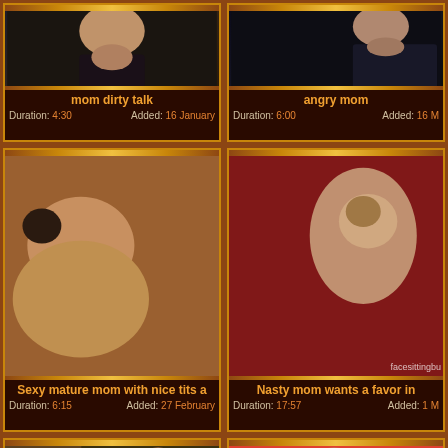[Figure (other): Video thumbnail grid showing adult video content cards with titles, durations, and dates]
mom dirty talk — Duration: 4:30 Added: 16 January
angry mom — Duration: 6:00 Added: 16 M
Sexy mature mom with nice tits a — Duration: 6:15 Added: 27 February
Nasty mom wants a favor in — Duration: 17:57 Added: 1 M